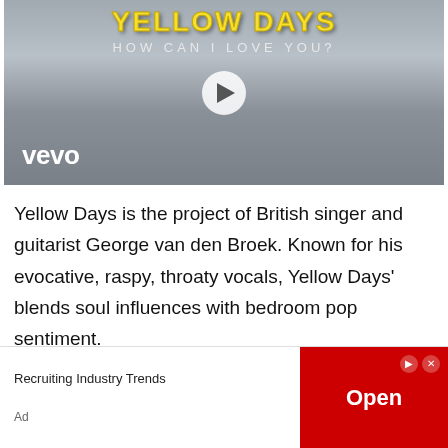[Figure (screenshot): Vevo music video thumbnail for Yellow Days 'How Can I Love You?' featuring the band name in yellow stylized text, subtitle text, a play button overlay, and the Vevo logo in the bottom left on a grey sky background.]
Yellow Days is the project of British singer and guitarist George van den Broek. Known for his evocative, raspy, throaty vocals, Yellow Days' blends soul influences with bedroom pop sentiment.
The stunning 'Gap in the Clouds' offers a
[Figure (screenshot): Advertisement banner: 'Recruiting Industry Trends' with an Open button in red on the right side, and an 'Ad' label on the lower left.]